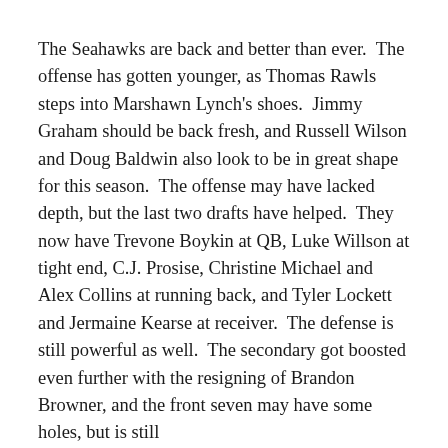The Seahawks are back and better than ever. The offense has gotten younger, as Thomas Rawls steps into Marshawn Lynch's shoes. Jimmy Graham should be back fresh, and Russell Wilson and Doug Baldwin also look to be in great shape for this season. The offense may have lacked depth, but the last two drafts have helped. They now have Trevone Boykin at QB, Luke Willson at tight end, C.J. Prosise, Christine Michael and Alex Collins at running back, and Tyler Lockett and Jermaine Kearse at receiver. The defense is still powerful as well. The secondary got boosted even further with the resigning of Brandon Browner, and the front seven may have some holes, but is still